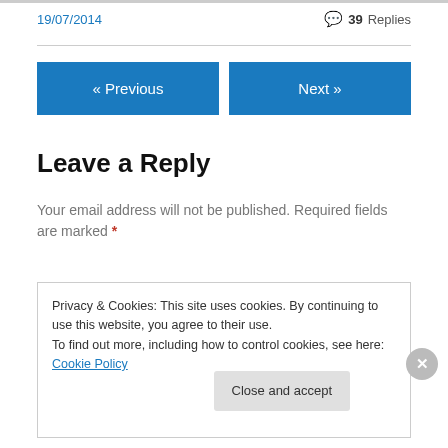19/07/2014
39 Replies
« Previous
Next »
Leave a Reply
Your email address will not be published. Required fields are marked *
Privacy & Cookies: This site uses cookies. By continuing to use this website, you agree to their use.
To find out more, including how to control cookies, see here: Cookie Policy
Close and accept